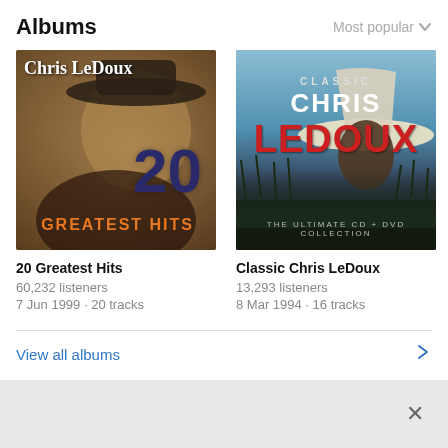Albums
Most popular
[Figure (photo): Album cover: Chris LeDoux 20 Greatest Hits - shows a man in cowboy hat with '20 GREATEST HITS' text]
20 Greatest Hits
60,232 listeners
7 Jun 1999 · 20 tracks
[Figure (photo): Album cover: Classic Chris LeDoux - The Ultimate CD + DVD Collection, showing man in white cowboy hat]
Classic Chris LeDoux
13,293 listeners
8 Mar 1994 · 16 tracks
Ame
12,66
1 Jan
View all albums